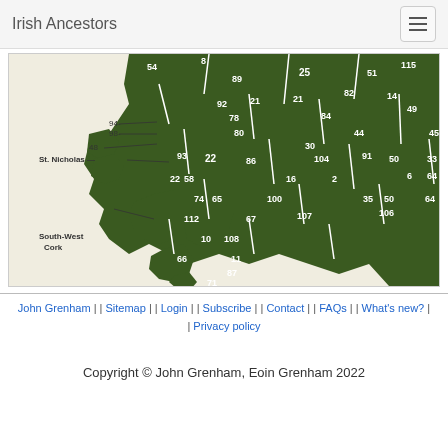Irish Ancestors
[Figure (map): A numbered map of Cork parishes/baronies in Ireland, showing regions labeled 'St. Nicholas' and 'South-West Cork' with numbered areas including: 54, 8, 89, 25, 115, 51, 92, 21, 21, 82, 49, 94, 97, 78, 84, 14, 98, 48, 80, 45, 30, 44, 33, 93, 104, 91, 64, 22, 86, 16, 50, 2, 58, 22, 35, 6, 74, 65, 100, 50, 64, 112, 67, 107, 106, 10, 108, 66, 11, 87, 71]
John Grenham | | Sitemap | | Login | | Subscribe | | Contact | | FAQs | | What's new? | Privacy policy
Copyright © John Grenham, Eoin Grenham 2022